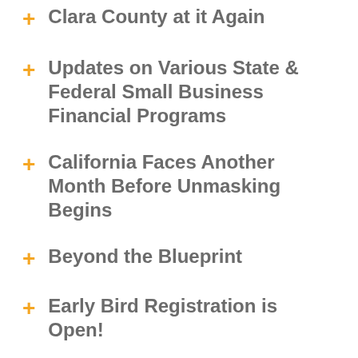Clara County at it Again
Updates on Various State & Federal Small Business Financial Programs
California Faces Another Month Before Unmasking Begins
Beyond the Blueprint
Early Bird Registration is Open!